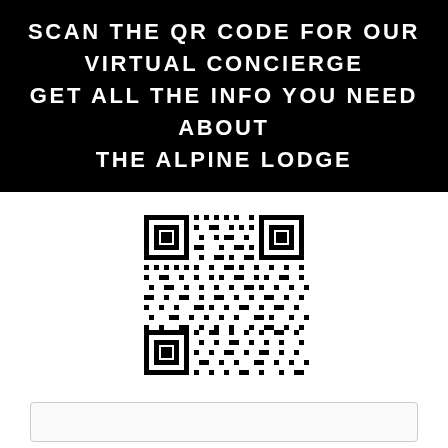SCAN THE QR CODE FOR OUR VIRTUAL CONCIERGE GET ALL THE INFO YOU NEED ABOUT THE ALPINE LODGE
[Figure (other): QR code for The Alpine Lodge virtual concierge]